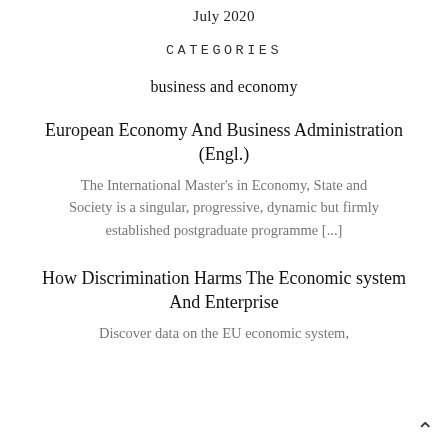July 2020
CATEGORIES
business and economy
European Economy And Business Administration (Engl.)
The International Master's in Economy, State and Society is a singular, progressive, dynamic but firmly established postgraduate programme [...]
How Discrimination Harms The Economic system And Enterprise
Discover data on the EU economic system,